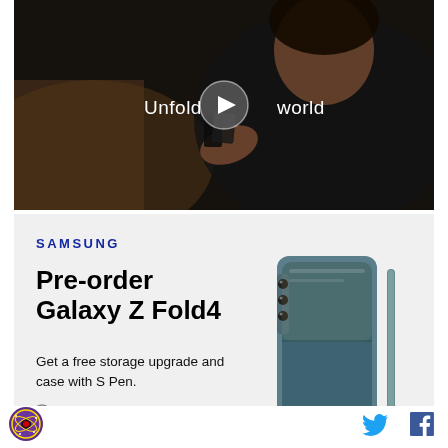[Figure (screenshot): Video thumbnail showing a woman in a car holding a foldable Samsung phone. Text overlay reads 'Unfold your world' with a play button in the center.]
[Figure (screenshot): Samsung advertisement for Galaxy Z Fold4 pre-order on a light gray background, showing the Samsung logo, pre-order title, promotional text about free storage upgrade and case with S Pen, and a product image of the phone.]
[Figure (logo): Circular purple badge/logo in bottom left footer area]
[Figure (infographic): Twitter bird icon in blue in the footer]
[Figure (infographic): Facebook 'f' icon in dark color in the footer]